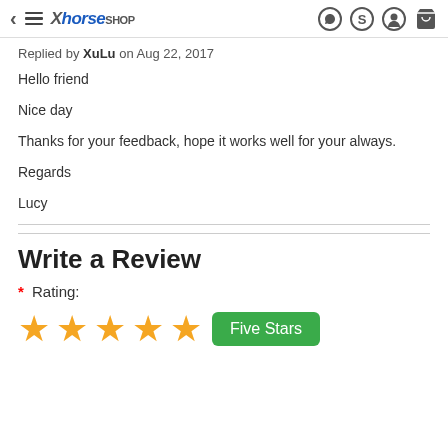Xhorse Shop header with navigation icons
Replied by XuLu on Aug 22, 2017
Hello friend

Nice day

Thanks for your feedback, hope it works well for your always.

Regards

Lucy
Write a Review
* Rating:
[Figure (other): Five orange stars with a green 'Five Stars' button]